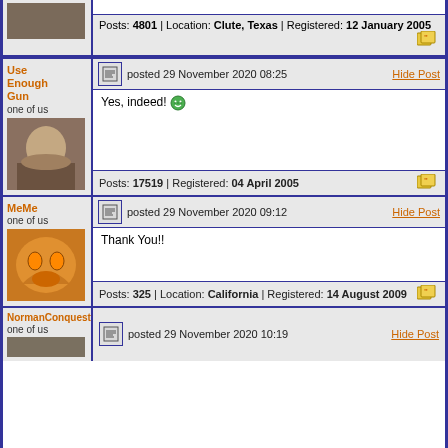Posts: 4801 | Location: Clute, Texas | Registered: 12 January 2005
Use Enough Gun
one of us
posted 29 November 2020 08:25
Hide Post
Yes, indeed!
Posts: 17519 | Registered: 04 April 2005
MeMe
one of us
posted 29 November 2020 09:12
Hide Post
Thank You!!
Posts: 325 | Location: California | Registered: 14 August 2009
NormanConquest
one of us
posted 29 November 2020 10:19
Hide Post